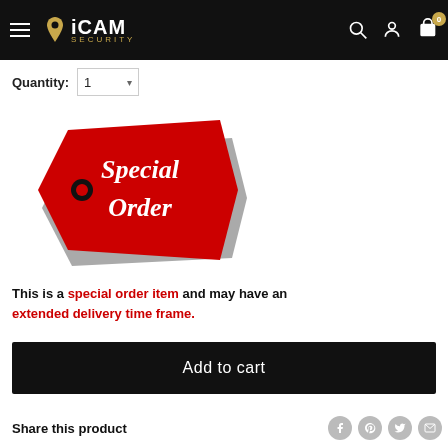iCAM SECURITY — navigation bar with hamburger menu, search, account, and cart icons
Quantity: 1
[Figure (illustration): Red price-tag shaped badge with black outline and string, reading 'Special Order' in white italic text on the red tag.]
This is a special order item and may have an extended delivery time frame.
Add to cart
Share this product